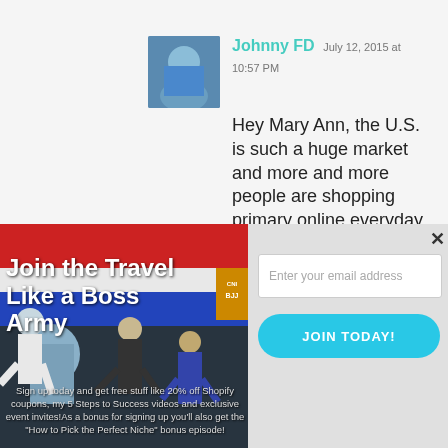Johnny FD  July 12, 2015 at 10:57 PM
Hey Mary Ann, the U.S. is such a huge market and more and more people are shopping primary online everyday day so I don't think it'll get saturated
[Figure (photo): A modal popup overlay. Left side: martial arts / jiu-jitsu themed image with red/white/blue stripes in background and people in gi uniforms jumping. Text reads 'Join the Travel Like a Boss Army' and signup text about free stuff. Right side: email signup form with 'Enter your email address' input and 'JOIN TODAY!' button.]
Sign up today and get free stuff like 20% off Shopify coupons, my 5 Steps to Success videos and exclusive event invites!As a bonus for signing up you'll also get the "How to Pick the Perfect Niche" bonus episode!
Join the Travel Like a Boss Army
Enter your email address
JOIN TODAY!